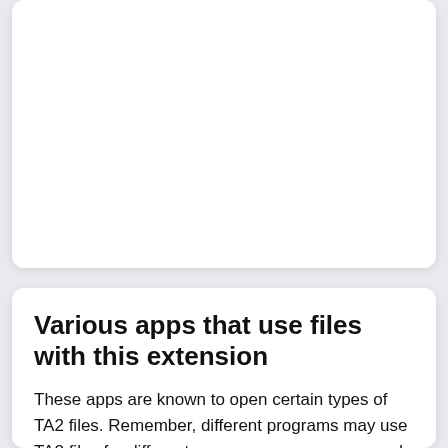[Figure (other): White card panel at the top — content above the visible area, appears blank/cut off]
Various apps that use files with this extension
These apps are known to open certain types of TA2 files. Remember, different programs may use TA2 files for different purposes, so you may need to try out a few of them to be able to open